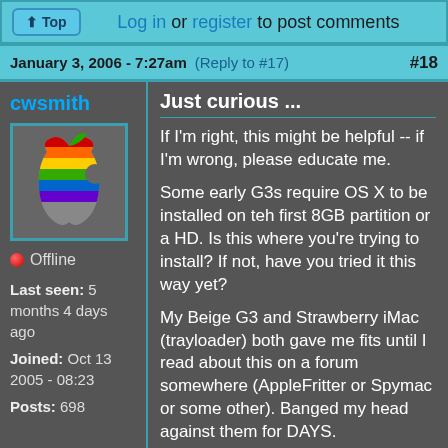Top | Log in or register to post comments
January 3, 2006 - 7:27am (Reply to #17) #18
cwsmith
[Figure (photo): Rainbow Apple logo avatar on gray background]
Offline
Last seen: 5 months 4 days ago
Joined: Oct 13 2005 - 08:23
Posts: 698
Just curious ...
If I'm right, this might be helpful -- if I'm wrong, please educate me.
Some early G3s require OS X to be installed on teh first 8GB partition or a HD. Is this where you're trying to install? If not, have you tried it this way yet?
My Beige G3 and Strawberry iMac (trayloader) both gave me fits until I read about this on a forum somewhere (AppleFritter or Spymac or some other). Banged my head against them for DAYS.